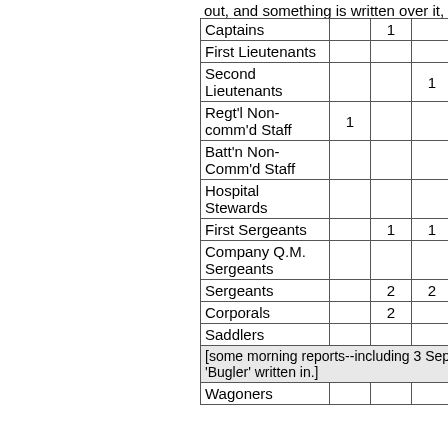out, and something is written over it, perhaps
|  |  |  |  |  |  |  |  |  |
| --- | --- | --- | --- | --- | --- | --- | --- | --- |
| Captains |  | 1 |  |  | 1 |  | 1 |
| First Lieutenants |  |  |  | 1 | 1 |  |  |
| Second Lieutenants |  |  | 1 |  | 1 | 1 | 1 |
| Regt'l Non-comm'd Staff | 1 |  |  |  |  |  |  |
| Batt'n Non-Comm'd Staff |  |  |  |  |  |  |  |
| Hospital Stewards |  |  |  |  |  |  |  |
| First Sergeants |  | 1 | 1 |  |  | 1 |  |
| Company Q.M. Sergeants |  |  |  |  |  |  |  |
| Sergeants |  | 2 | 2 | 3 | 2 | 1 | 1 |
| Corporals |  | 2 |  | 3 | 4 | 3 | 1 | 2 |
| Saddlers |  |  |  |  |  |  |  |
[some morning reports--including 3 September-- have 'Bugler' written in.]
| Wagoners |  |  |  |  |  |  |  |